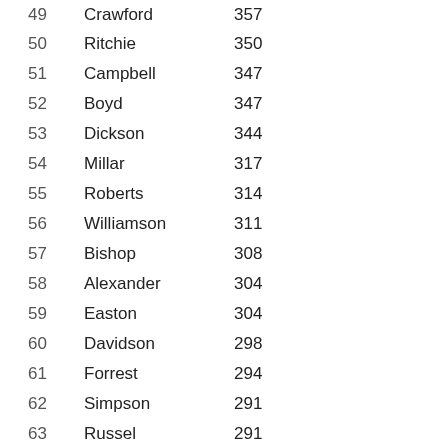| Rank | Name | Count |
| --- | --- | --- |
| 49 | Crawford | 357 |
| 50 | Ritchie | 350 |
| 51 | Campbell | 347 |
| 52 | Boyd | 347 |
| 53 | Dickson | 344 |
| 54 | Millar | 317 |
| 55 | Roberts | 314 |
| 56 | Williamson | 311 |
| 57 | Bishop | 308 |
| 58 | Alexander | 304 |
| 59 | Easton | 304 |
| 60 | Davidson | 298 |
| 61 | Forrest | 294 |
| 62 | Simpson | 291 |
| 63 | Russel | 291 |
| 64 | Wood | 291 |
| 65 | Steel | 291 |
| 66 | Watson | 275 |
| 67 | Ramsay | 275 |